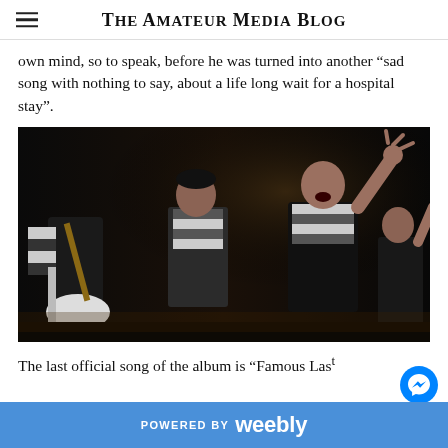The Amateur Media Blog
own mind, so to speak, before he was turned into another “sad song with nothing to say, about a life long wait for a hospital stay”.
[Figure (photo): Band performing on stage, dark background; a singer with raised hand center-right, guitarist on left, another band member right]
The last official song of the album is “Famous Last Words”. This song…
POWERED BY weebly